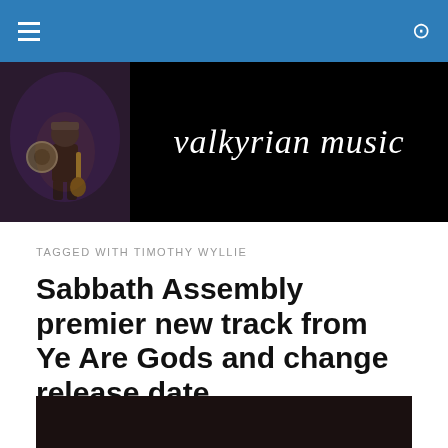≡  🔍
[Figure (logo): Valkyrian Music banner with viking warrior figure on black background and site name in medieval font]
TAGGED WITH TIMOTHY WYLLIE
Sabbath Assembly premier new track from Ye Are Gods and change release date
[Figure (photo): Dark preview image at bottom of page]